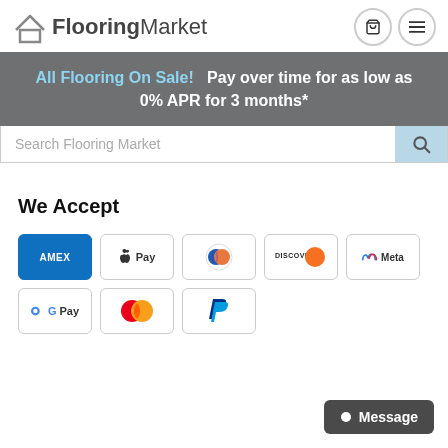[Figure (logo): FlooringMarket logo with house icon]
All Flooring On Sale!   Pay over time for as low as 0% APR for 3 months*
Search Flooring Market
We Accept
[Figure (infographic): Payment method icons: Amex, Apple Pay, Diners Club, Discover, Meta, Google Pay, Mastercard, PayPal]
Message